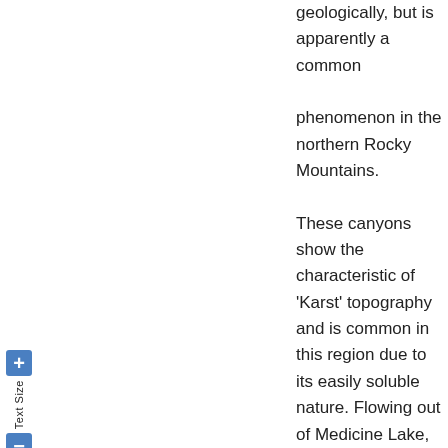geologically, but is apparently a common phenomenon in the northern Rocky Mountains. These canyons show the characteristic of 'Karst' topography and is common in this region due to its easily soluble nature. Flowing out of Medicine Lake,